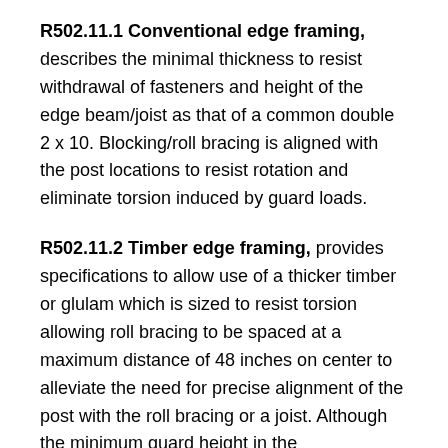R502.11.1 Conventional edge framing, describes the minimal thickness to resist withdrawal of fasteners and height of the edge beam/joist as that of a common double 2 x 10. Blocking/roll bracing is aligned with the post locations to resist rotation and eliminate torsion induced by guard loads.
R502.11.2 Timber edge framing, provides specifications to allow use of a thicker timber or glulam which is sized to resist torsion allowing roll bracing to be spaced at a maximum distance of 48 inches on center to alleviate the need for precise alignment of the post with the roll bracing or a joist. Although the minimum guard height in the